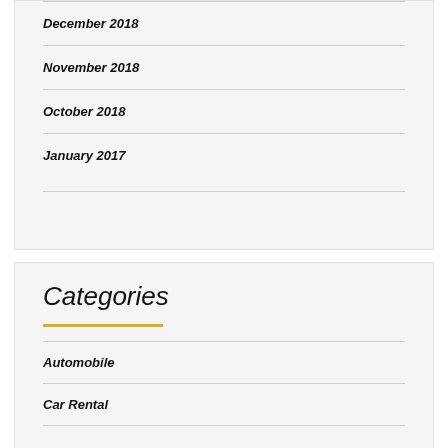December 2018
November 2018
October 2018
January 2017
Categories
Automobile
Car Rental